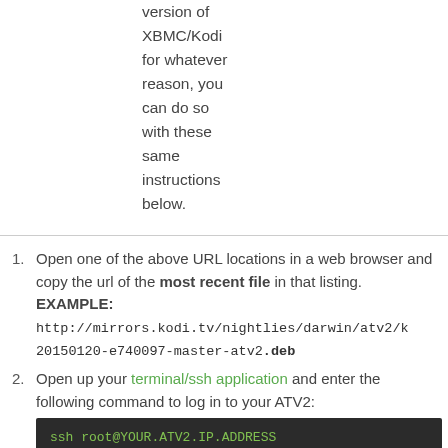version of XBMC/Kodi for whatever reason, you can do so with these same instructions below.
Open one of the above URL locations in a web browser and copy the url of the most recent file in that listing. EXAMPLE: http://mirrors.kodi.tv/nightlies/darwin/atv2/k 20150120-e740097-master-atv2.deb
Open up your terminal/ssh application and enter the following command to log in to your ATV2: ssh root@YOUR.ATV2.IP.ADDRESS